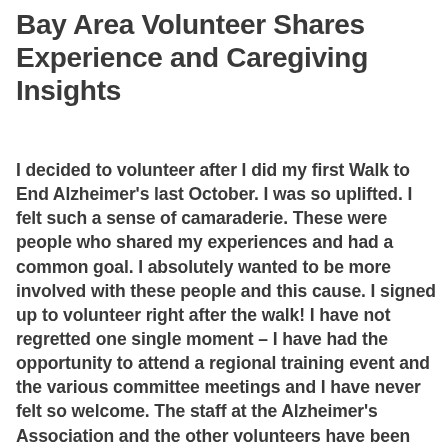Bay Area Volunteer Shares Experience and Caregiving Insights
I decided to volunteer after I did my first Walk to End Alzheimer's last October. I was so uplifted. I felt such a sense of camaraderie. These were people who shared my experiences and had a common goal. I absolutely wanted to be more involved with these people and this cause. I signed up to volunteer right after the walk! I have not regretted one single moment – I have had the opportunity to attend a regional training event and the various committee meetings and I have never felt so welcome. The staff at the Alzheimer's Association and the other volunteers have been amazing. I first learned about the Walk through the Calumet area chapter's newsletter and...